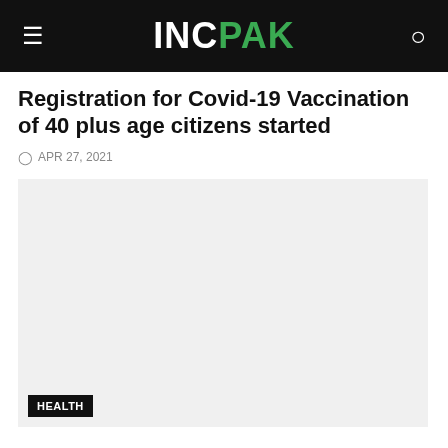INCPAK
Registration for Covid-19 Vaccination of 40 plus age citizens started
APR 27, 2021
[Figure (photo): A large light gray placeholder image area with a HEALTH tag label in the bottom left corner]